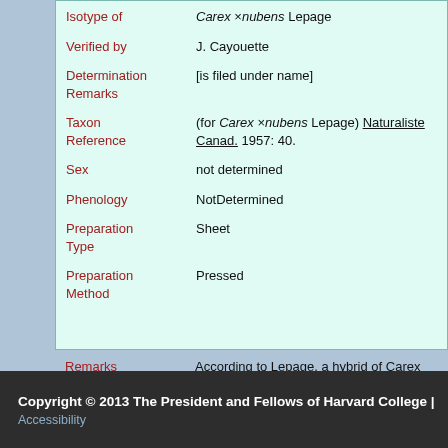| Field | Value |
| --- | --- |
| Isotype of | Carex ×nubens Lepage |
| Verified by | J. Cayouette |
| Determination Remarks | [is filed under name] |
| Taxon Reference | (for Carex ×nubens Lepage) Naturaliste Canad. 1957: 40. |
| Sex | not determined |
| Phenology | NotDetermined |
| Preparation Type | Sheet |
| Preparation Method | Pressed |
Remarks   According to Lepage, a hybrid of Carex miliaris x n (Carex aquatilis x recta), det. J. Cayouette, 1991
Copyright © 2013 The President and Fellows of Harvard College | Accessibility